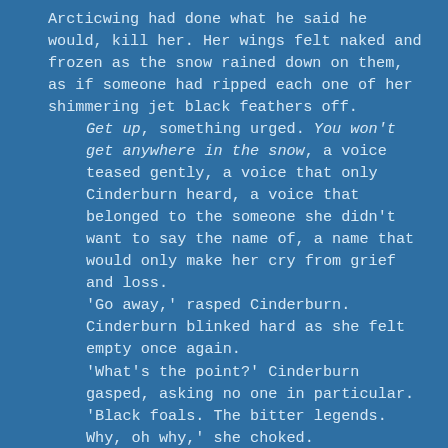Arcticwing had done what he said he would, kill her. Her wings felt naked and frozen as the snow rained down on them, as if someone had ripped each one of her shimmering jet black feathers off.
	Get up, something urged. You won't get anywhere in the snow, a voice teased gently, a voice that only Cinderburn heard, a voice that belonged to the someone she didn't want to say the name of, a name that would only make her cry from grief and loss.
	'Go away,' rasped Cinderburn. Cinderburn blinked hard as she felt empty once again.
	'What's the point?' Cinderburn gasped, asking no one in particular. 'Black foals. The bitter legends. Why, oh why,' she choked.
	She tried to press her black face into her black wings, but they were soaked. The water that dribbled through and in-between her feathers, a constant i...